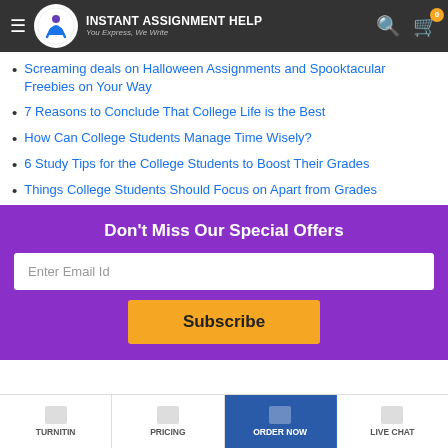[Figure (screenshot): Navigation bar with hamburger menu, Instant Assignment Help logo (circle with figure icon), brand name and tagline, search icon, and cart icon with badge showing 0]
Screaming deals on Halloween Assignments and Spooktacular Freebies on Your Way
7 Reasons to Conclude That College Life is the Best
How Can College Students Manage Time Wisely?
6 Study Tips for the College Students to Boost Their Grades
Things College Students Should Focus on Apart from Grades
Don't Miss Our Special Offers
Enter Email Id
Subscribe
TURNITIN  PRICING  ORDER NOW  LIVE CHAT